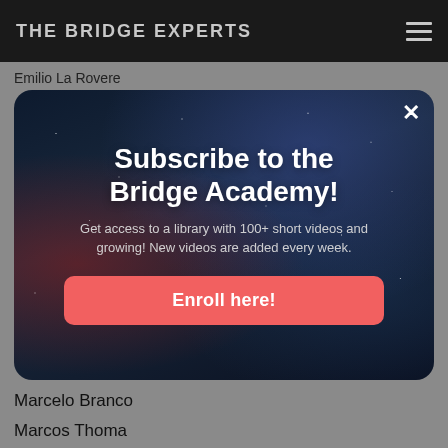THE BRIDGE EXPERTS
Emilio La Rovere
[Figure (screenshot): Modal popup with dark starry background showing a subscription advertisement for Bridge Academy. Contains title 'Subscribe to the Bridge Academy!', subtitle text 'Get access to a library with 100+ short videos and growing! New videos are added every week.', and a coral/red 'Enroll here!' button. An X close button is in the top right corner.]
Marcelo Branco
Marcos Thoma
Miguel Villas Boas
Opening Lead